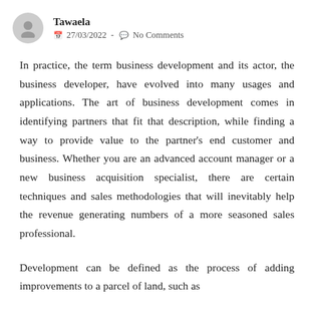Tawaela  27/03/2022 - No Comments
In practice, the term business development and its actor, the business developer, have evolved into many usages and applications. The art of business development comes in identifying partners that fit that description, while finding a way to provide value to the partner's end customer and business. Whether you are an advanced account manager or a new business acquisition specialist, there are certain techniques and sales methodologies that will inevitably help the revenue generating numbers of a more seasoned sales professional.
Development can be defined as the process of adding improvements to a parcel of land, such as